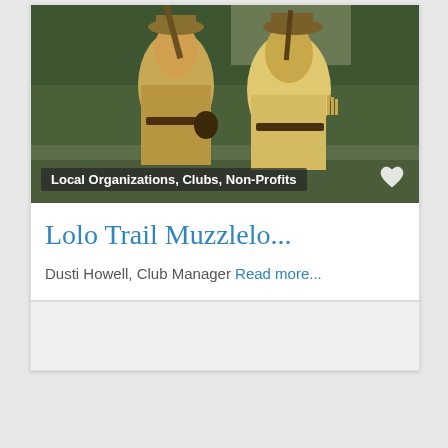[Figure (photo): Two men dressed in historical buckskin frontier clothing holding muzzleloader rifles, standing outdoors near water with green foliage in background]
Local Organizations, Clubs, Non-Profits
Lolo Trail Muzzlelo...
Dusti Howell, Club Manager Read more...